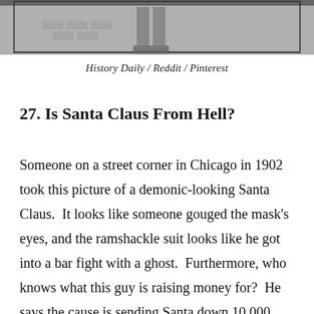[Figure (photo): Black and white photograph showing legs/feet of a person standing near a brick wall, cropped at the top of the page]
History Daily / Reddit / Pinterest
27. Is Santa Claus From Hell?
Someone on a street corner in Chicago in 1902 took this picture of a demonic-looking Santa Claus. It looks like someone gouged the mask's eyes, and the ramshackle suit looks like he got into a bar fight with a ghost. Furthermore, who knows what this guy is raising money for? He says the cause is sending Santa down 10,000 chimneys,